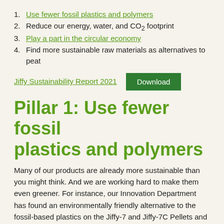1. Use fewer fossil plastics and polymers
2. Reduce our energy, water, and CO2 footprint
3. Play a part in the circular economy
4. Find more sustainable raw materials as alternatives to peat
Jiffy Sustainability Report 2021  [Download button]
Pillar 1: Use fewer fossil plastics and polymers
Many of our products are already more sustainable than you might think. And we are working hard to make them even greener. For instance, our Innovation Department has found an environmentally friendly alternative to the fossil-based plastics on the Jiffy-7 and Jiffy-7C Pellets and Growblocks.
That means we now sell even more fully compostable growing media. The switch started in 2020 and will be completed by the end of 2021. It's just one of the ways we are reducing the use of fossil plastic and polymers all along